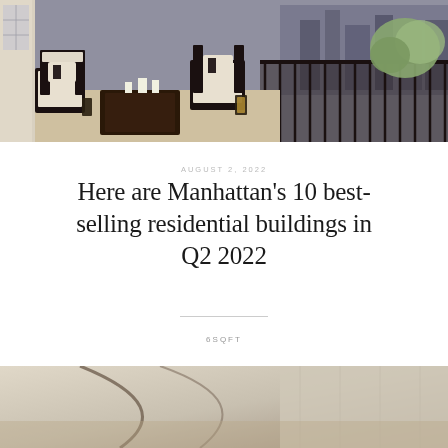[Figure (photo): Luxury outdoor terrace with dark metal furniture featuring white cushions with black stripe trim, coffee table with candles, potted hydrangeas, ornate iron railing with Manhattan skyline in background]
AUGUST 2, 2022
Here are Manhattan's 10 best-selling residential buildings in Q2 2022
6SQFT
[Figure (photo): Partial view of a luxury interior room with warm neutral tones, abstract curved sculpture or art piece visible]